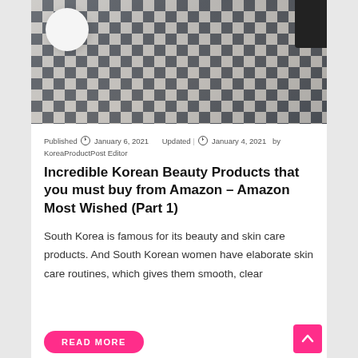[Figure (photo): Photo of Korean beauty/skincare products on a black and white checkered fabric background, with a white round object and a hand holding a black frame]
Published  January 6, 2021  Updated |  January 4, 2021  by KoreaProductPost Editor
Incredible Korean Beauty Products that you must buy from Amazon – Amazon Most Wished (Part 1)
South Korea is famous for its beauty and skin care products. And South Korean women have elaborate skin care routines, which gives them smooth, clear
READ MORE